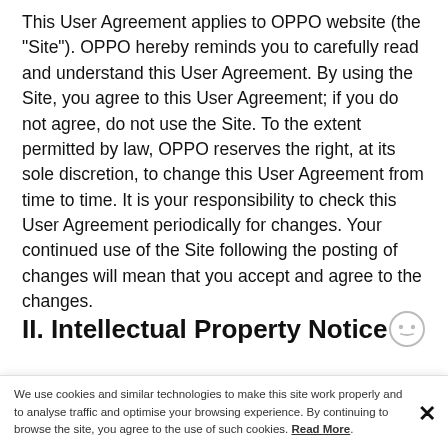This User Agreement applies to OPPO website (the "Site"). OPPO hereby reminds you to carefully read and understand this User Agreement. By using the Site, you agree to this User Agreement; if you do not agree, do not use the Site. To the extent permitted by law, OPPO reserves the right, at its sole discretion, to change this User Agreement from time to time. It is your responsibility to check this User Agreement periodically for changes. Your continued use of the Site following the posting of changes will mean that you accept and agree to the changes.
II. Intellectual Property Notice
All content contained on the Site, including but not limited to text, graphics, photographs, animations, trademarks, logos, tables, visual interfaces and
We use cookies and similar technologies to make this site work properly and to analyse traffic and optimise your browsing experience. By continuing to browse the site, you agree to the use of such cookies. Read More.